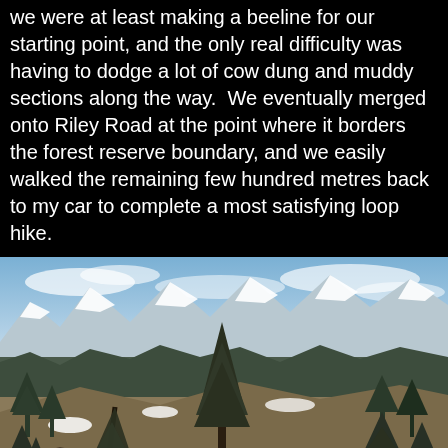we were at least making a beeline for our starting point, and the only real difficulty was having to dodge a lot of cow dung and muddy sections along the way.  We eventually merged onto Riley Road at the point where it borders the forest reserve boundary, and we easily walked the remaining few hundred metres back to my car to complete a most satisfying loop hike.
[Figure (photo): Wide landscape photograph showing a panoramic view of rolling foothills and forested terrain with patches of snow. In the background, snow-capped mountain peaks stretch across the horizon under a partly cloudy blue sky. The foreground features scattered coniferous trees, open meadows, and patches of snow on the ground.]